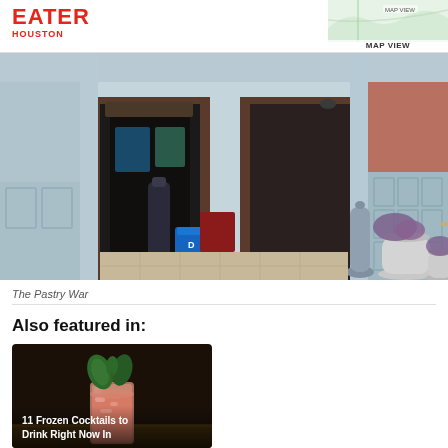EATER HOUSTON
[Figure (screenshot): Map view thumbnail in top right corner]
[Figure (photo): Exterior photo of The Pastry War restaurant showing entrance with light blue painted walls, open doors, plants in white pots, and a blue cooler visible inside]
The Pastry War
Also featured in:
[Figure (photo): Photo of a frozen pink cocktail in a glass garnished with green herbs, dark background]
11 Frozen Cocktails to Drink Right Now In